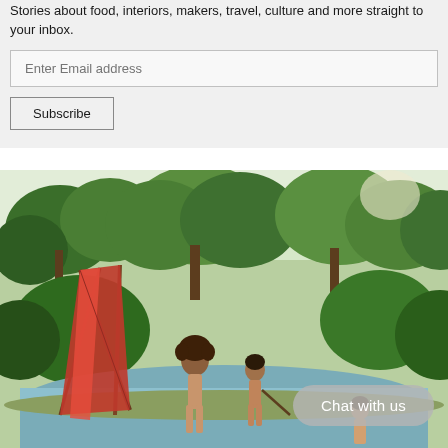Stories about food, interiors, makers, travel, culture and more straight to your inbox.
Enter Email address
Subscribe
[Figure (photo): Children playing near a river with lush green trees in the background, a red teepee tent visible on the left side. A child with curly hair stands in the foreground near the water.]
Chat with us